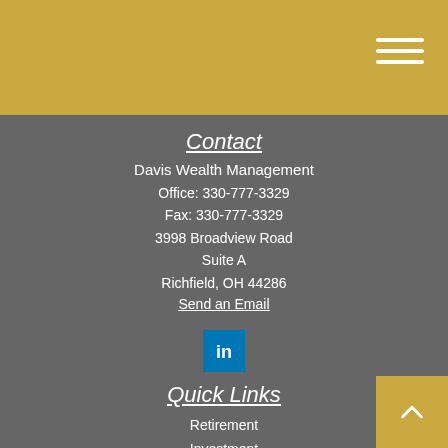Davis Wealth Management header with hamburger menu
Contact
Davis Wealth Management
Office: 330-777-3329
Fax: 330-777-3329
3998 Broadview Road
Suite A
Richfield, OH 44286
Send an Email
[Figure (logo): LinkedIn icon button (blue square with white 'in' text)]
Quick Links
Retirement
Investment
Estate
Insurance
Tax